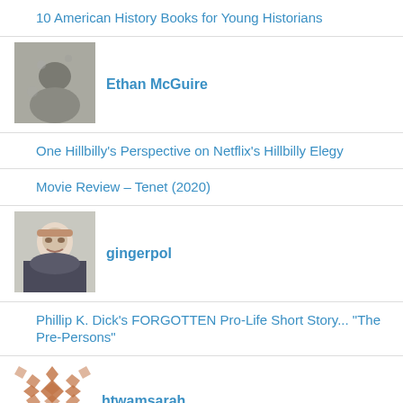10 American History Books for Young Historians
[Figure (photo): Avatar photo of Ethan McGuire - grainy outdoor scene]
Ethan McGuire
One Hillbilly's Perspective on Netflix's Hillbilly Elegy
Movie Review – Tenet (2020)
[Figure (photo): Avatar photo of gingerpol - person with beard wearing dark jacket]
gingerpol
Phillip K. Dick's FORGOTTEN Pro-Life Short Story... "The Pre-Persons"
[Figure (logo): htwamsarah avatar - geometric brown diamond/star pattern]
htwamsarah
Life Isn't Fair: Why The Princess Bride's Framing Device Matters